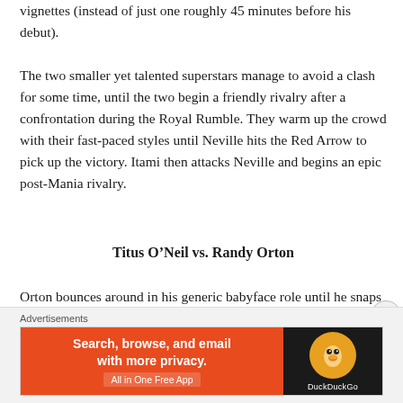vignettes (instead of just one roughly 45 minutes before his debut).
The two smaller yet talented superstars manage to avoid a clash for some time, until the two begin a friendly rivalry after a confrontation during the Royal Rumble. They warm up the crowd with their fast-paced styles until Neville hits the Red Arrow to pick up the victory. Itami then attacks Neville and begins an epic post-Mania rivalry.
Titus O’Neil vs. Randy Orton
Orton bounces around in his generic babyface role until he snaps and becomes his slightly less generic heel role. Meanwhile, “Big Deal” Titus O’Neil has gradually won over the WWE Universe due to being an all-around nice guy legit...
Advertisements
[Figure (other): DuckDuckGo advertisement banner: orange left panel saying 'Search, browse, and email with more privacy. All in One Free App' with black right panel showing DuckDuckGo logo.]